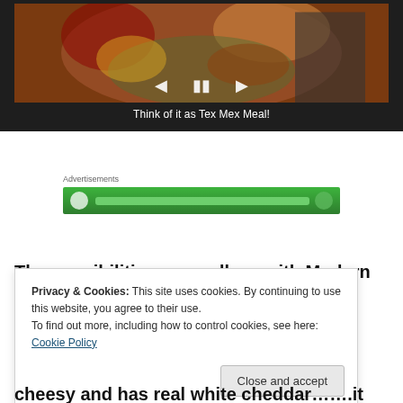[Figure (screenshot): Video player thumbnail showing a colorful food dish (pasta/Tex Mex style meal) with playback controls (previous, pause, next) and caption 'Think of it as Tex Mex Meal!']
Think of it as Tex Mex Meal!
Advertisements
[Figure (other): Green advertisement banner with circular logo element and bar graphic]
The possibilities are endless with Modern Table and their
Privacy & Cookies: This site uses cookies. By continuing to use this website, you agree to their use.
To find out more, including how to control cookies, see here: Cookie Policy
Close and accept
cheesy and has real white cheddar…….it just takes Mac &